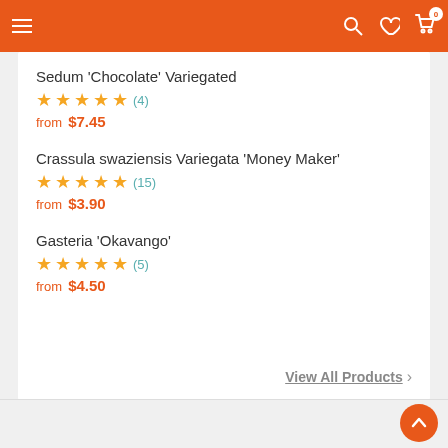Navigation header with menu, search, wishlist, and cart icons
Sedum 'Chocolate' Variegated
★★★★★ (4)
from $7.45
Crassula swaziensis Variegata 'Money Maker'
★★★★★ (15)
from $3.90
Gasteria 'Okavango'
★★★★★ (5)
from $4.50
View All Products >